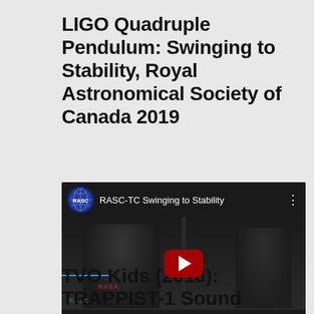LIGO Quadruple Pendulum: Swinging to Stability, Royal Astronomical Society of Canada 2019
[Figure (screenshot): Embedded YouTube video player showing RASC-TC Swinging to Stability. Video thumbnail shows two people in a dark room. Controls show time 00:00 and duration 18:38.]
TVO Kids (2018): TRAPPIST-1 Sound